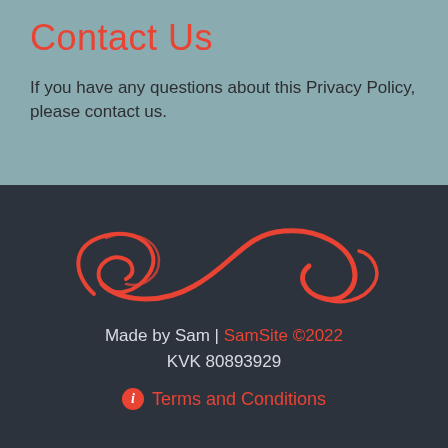Contact Us
If you have any questions about this Privacy Policy, please contact us.
[Figure (logo): SamSite logo — two overlapping red spiral/swirl curves forming an abstract S-shape on dark background]
Made by Sam | SamSite ©2022 KVK 80893929
ℹ Terms and Conditions